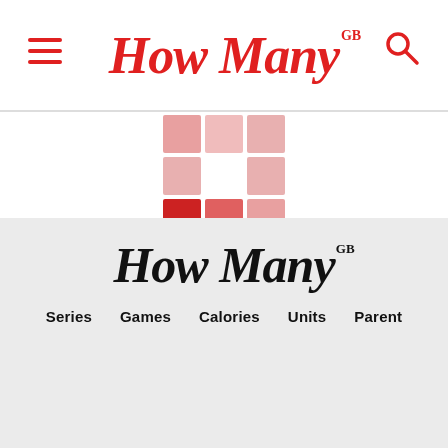How Many GB
[Figure (logo): How Many GB logo loading spinner — 3x3 grid of squares in pink/red tones with center square white]
How Many GB — Series Games Calories Units Parent